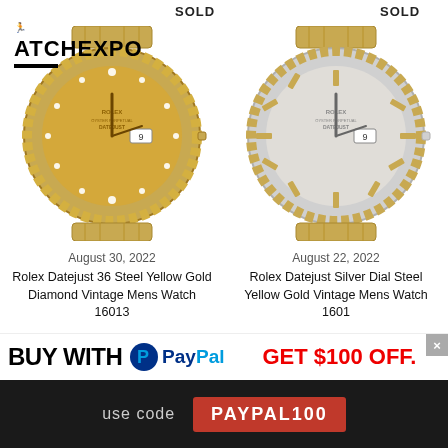[Figure (logo): WatchExpo logo with icon and black underline bar]
SOLD
SOLD
[Figure (photo): Rolex Datejust 36 Steel Yellow Gold Diamond Vintage Mens Watch 16013 with champagne diamond dial and jubilee bracelet, marked SOLD]
[Figure (photo): Rolex Datejust Silver Dial Steel Yellow Gold Vintage Mens Watch 1601 with silver stick dial and jubilee bracelet, marked SOLD]
August 30, 2022
August 22, 2022
Rolex Datejust 36 Steel Yellow Gold Diamond Vintage Mens Watch 16013
Rolex Datejust Silver Dial Steel Yellow Gold Vintage Mens Watch 1601
BUY WITH PayPal GET $100 OFF.
use code PAYPAL100